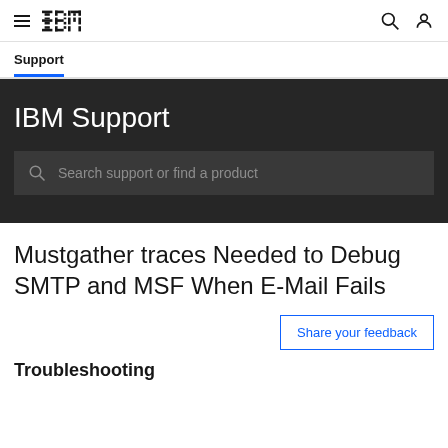IBM Support
Support
IBM Support
Search support or find a product
Mustgather traces Needed to Debug SMTP and MSF When E-Mail Fails
Share your feedback
Troubleshooting